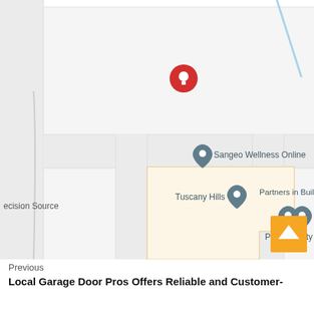[Figure (map): Google Maps screenshot showing a street map with location markers. Visible labels include 'ecision Source', 'Sangeo Wellness Online', 'Tuscany Hills', 'Parks Realty', and 'Partners in Building'. A red circular pin marker is visible near the top center. A beige L-shaped building footprint is shown in the center-right area. A yellow scroll-to-top button is in the bottom-right corner.]
Previous
Local Garage Door Pros Offers Reliable and Customer-